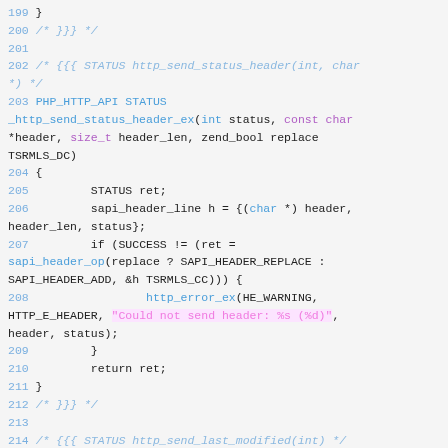[Figure (screenshot): Source code viewer showing C code lines 199-214 with syntax highlighting. Line numbers in blue, keywords in blue/purple, string literal highlighted in pink.]